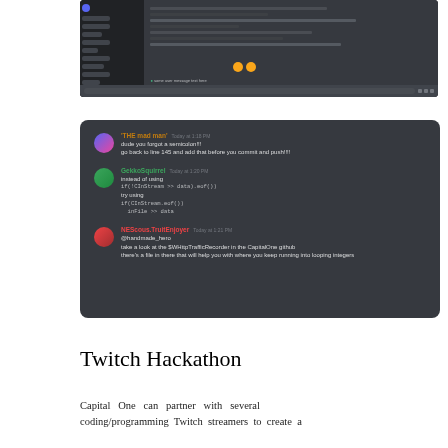[Figure (screenshot): Screenshot of a Discord server showing a code editor or dark-themed interface with sidebar channels and main content area]
[Figure (screenshot): Screenshot of a Discord chat conversation with three users: 'THE mad man' pointing out a missing semicolon at line 145, 'GekkoSquirrel' suggesting to use !CInStream.eof() with inFile >> data instead of if(!CInStream >> data).eof()), and 'NEScous.TruitEnjoyer' mentioning the $WHttpTrafficRecorder in the CapitalOne github and a file for looping integers]
Twitch Hackathon
Capital One can partner with several coding/programming Twitch streamers to create a